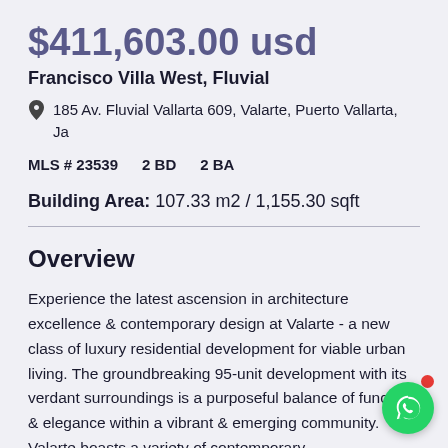$411,603.00 usd
Francisco Villa West, Fluvial
185 Av. Fluvial Vallarta 609, Valarte, Puerto Vallarta, Ja
MLS # 23539   2 BD   2 BA
Building Area: 107.33 m2 / 1,155.30 sqft
Overview
Experience the latest ascension in architecture excellence & contemporary design at Valarte - a new class of luxury residential development for viable urban living. The groundbreaking 95-unit development with its verdant surroundings is a purposeful balance of function & elegance within a vibrant & emerging community. Valarte boasts a variety of contemporary